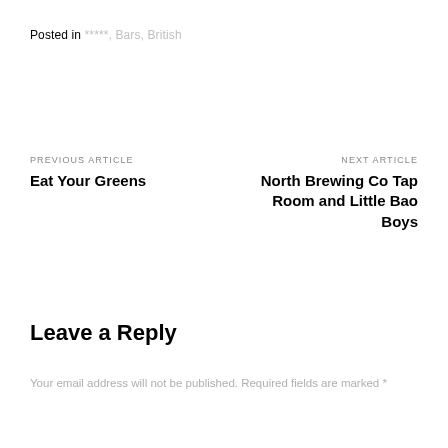Posted in *****, Bars, British
PREVIOUS ARTICLE
Eat Your Greens
NEXT ARTICLE
North Brewing Co Tap Room and Little Bao Boys
Leave a Reply
Your email address will not be published. Required fields are marked *